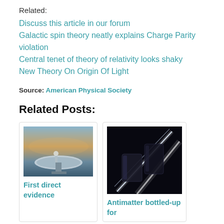Related:
Discuss this article in our forum
Galactic spin theory neatly explains Charge Parity violation
Central tenet of theory of relativity looks shaky
New Theory On Origin Of Light
Source: American Physical Society
Related Posts:
[Figure (photo): Telescope dish in snowy landscape at sunset/dusk]
First direct evidence
[Figure (photo): Bright particle trails against dark background, cylindrical container structures visible]
Antimatter bottled-up for